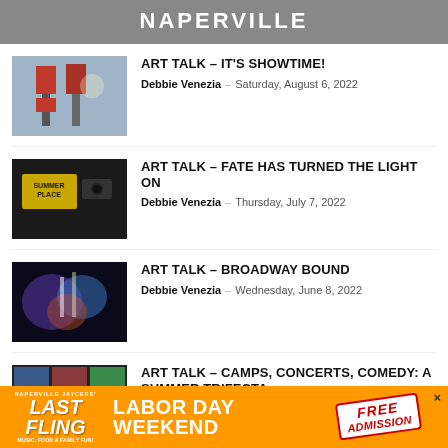NAPERVILLE
ART TALK – IT'S SHOWTIME! | Debbie Venezia – Saturday, August 6, 2022
ART TALK – FATE HAS TURNED THE LIGHT ON | Debbie Venezia – Thursday, July 7, 2022
ART TALK – BROADWAY BOUND | Debbie Venezia – Wednesday, June 8, 2022
ART TALK – CAMPS, CONCERTS, COMEDY: A SUMMER TRIFECTA | Debbie Venezia – Monday, May 16, 2022
[Figure (infographic): Orange advertisement banner for Naperville Jaycees Last Fling event — Labor Day Weekend, Free Admission — music, food & family fun]